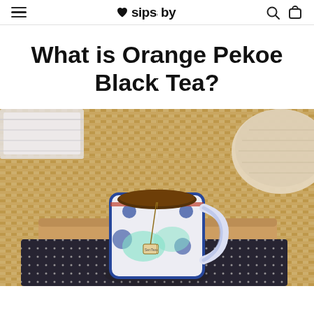♥ sips by
What is Orange Pekoe Black Tea?
[Figure (photo): A blue and white floral ceramic mug filled with dark tea, sitting on top of a brown cardboard 'sips by' subscription box and a dark dotted box, all placed on a woven rattan mat. A woven round pouf is visible in the upper right corner.]